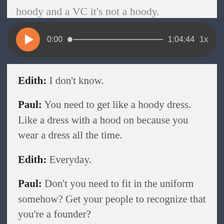hoody and a VC it's not a hoody.
[Figure (other): Audio player widget with orange play button, time display showing 0:00 and 1:04:44, progress bar, and 1x speed label]
Edith: I don't know.
Paul: You need to get like a hoody dress. Like a dress with a hood on because you wear a dress all the time.
Edith: Everyday.
Paul: Don't you need to fit in the uniform somehow? Get your people to recognize that you're a founder?